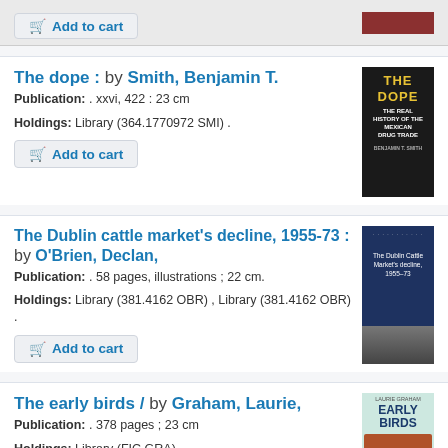Add to cart (partial top item)
The dope : by Smith, Benjamin T. Publication: . xxvi, 422 : 23 cm Holdings: Library (364.1770972 SMI) . Add to cart
The Dublin cattle market's decline, 1955-73 : by O'Brien, Declan, Publication: . 58 pages, illustrations ; 22 cm. Holdings: Library (381.4162 OBR) , Library (381.4162 OBR) . Add to cart
The early birds / by Graham, Laurie, Publication: . 378 pages ; 23 cm Holdings: Library (FIC GRA) .